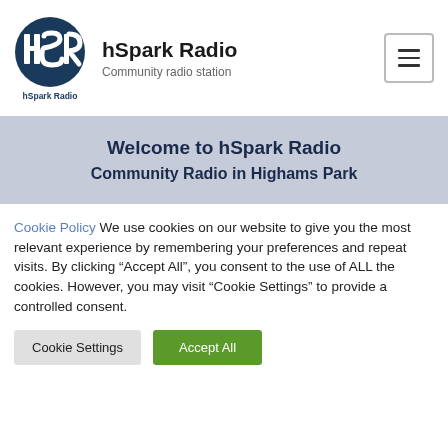[Figure (logo): hSpark Radio circular logo with HSR letters in dark navy blue circle, with 'hSpark Radio' text below]
hSpark Radio
Community radio station
[Figure (other): Hamburger menu button (three horizontal lines) in a rounded rectangle border]
Welcome to hSpark Radio
Community Radio in Highams Park
Cookie Policy We use cookies on our website to give you the most relevant experience by remembering your preferences and repeat visits. By clicking “Accept All”, you consent to the use of ALL the cookies. However, you may visit “Cookie Settings” to provide a controlled consent.
Cookie Settings
Accept All